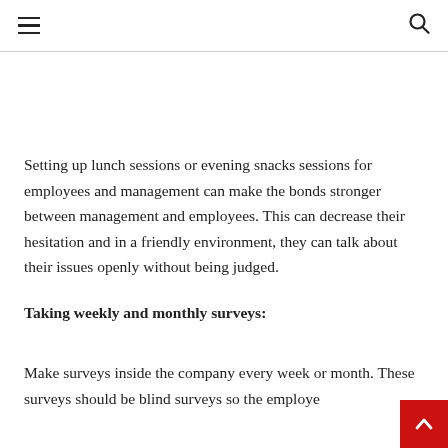≡  [hamburger menu]  [search icon]
Setting up lunch sessions or evening snacks sessions for employees and management can make the bonds stronger between management and employees. This can decrease their hesitation and in a friendly environment, they can talk about their issues openly without being judged.
Taking weekly and monthly surveys:
Make surveys inside the company every week or month. These surveys should be blind surveys so the employe